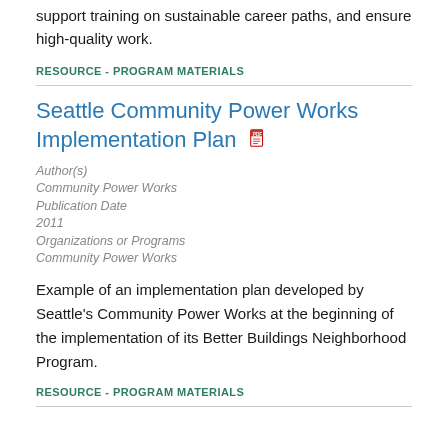support training on sustainable career paths, and ensure high-quality work.
RESOURCE - PROGRAM MATERIALS
Seattle Community Power Works Implementation Plan
Author(s)
Community Power Works
Publication Date
2011
Organizations or Programs
Community Power Works
Example of an implementation plan developed by Seattle's Community Power Works at the beginning of the implementation of its Better Buildings Neighborhood Program.
RESOURCE - PROGRAM MATERIALS